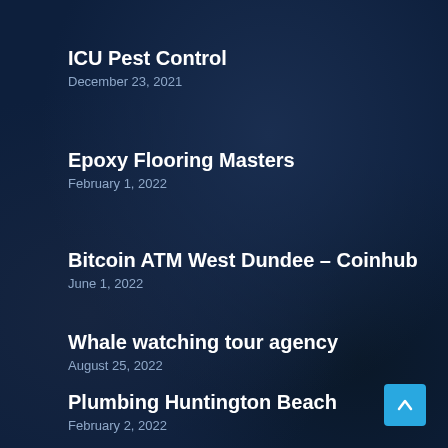ICU Pest Control
December 23, 2021
Epoxy Flooring Masters
February 1, 2022
Bitcoin ATM West Dundee – Coinhub
June 1, 2022
Whale watching tour agency
August 25, 2022
Plumbing Huntington Beach
February 2, 2022